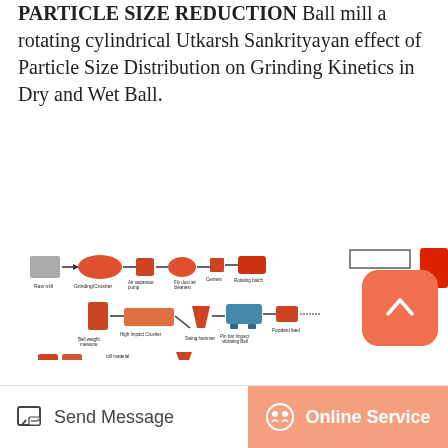PARTICLE SIZE REDUCTION Ball mill a rotating cylindrical Utkarsh Sankrityayan effect of Particle Size Distribution on Grinding Kinetics in Dry and Wet Ball.
[Figure (infographic): Flow diagram of particle size reduction equipment including ball mill stages with orange-colored machinery icons and connecting arrows, showing grinding/crushing process steps with labels.]
Send Message | Online Service